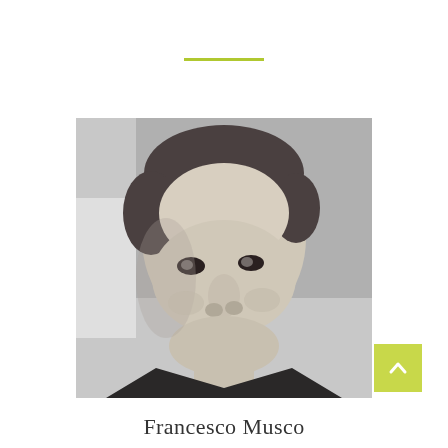[Figure (photo): Black and white portrait photograph of Francesco Musco, a man with short curly hair, looking slightly to the side, wearing a collared shirt and dark jacket.]
Francesco Musco